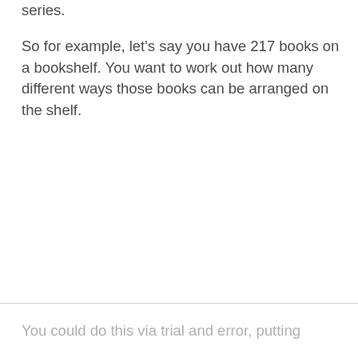series.
So for example, let's say you have 217 books on a bookshelf. You want to work out how many different ways those books can be arranged on the shelf.
You could do this via trial and error, putting